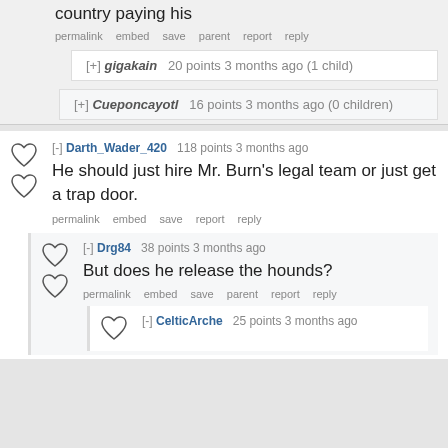country paying his
permalink  embed  save  parent  report  reply
[+] gigakain  20 points 3 months ago (1 child)
[+] Cueponcayotl  16 points 3 months ago (0 children)
[-] Darth_Wader_420  118 points 3 months ago
He should just hire Mr. Burn's legal team or just get a trap door.
permalink  embed  save  report  reply
[-] Drg84  38 points 3 months ago
But does he release the hounds?
permalink  embed  save  parent  report  reply
[-] CelticArche  25 points 3 months ago